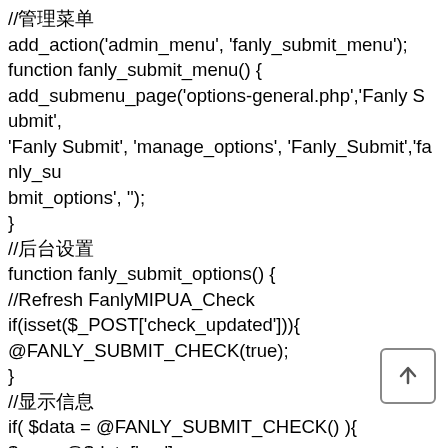//管理菜单
add_action('admin_menu', 'fanly_submit_menu');
function fanly_submit_menu() {
add_submenu_page('options-general.php','Fanly Submit',
'Fanly Submit', 'manage_options', 'Fanly_Submit','fanly_submit_options', '');
}
//后台设置
function fanly_submit_options() {
//Refresh FanlyMIPUA_Check
if(isset($_POST['check_updated'])){
@FANLY_SUBMIT_CHECK(true);
}
//显示信息
if( $data = @FANLY_SUBMIT_CHECK() ){
$ver = @$data['ver'];
$url = @$data['url'];
$plugin_data = get_plugin_data( __FILE__ );
if($ver > $plugin_data['Version']){
[Figure (other): Back to top button icon — arrow pointing upward inside a rounded rectangle border]